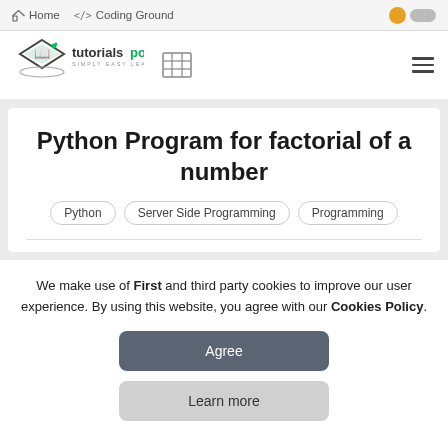Home   </> Coding Ground
[Figure (logo): tutorialspoint logo with diamond shape and text 'tutorialspoint SIMPLY EASY LEARNING']
Python Program for factorial of a number
Python
Server Side Programming
Programming
We make use of First and third party cookies to improve our user experience. By using this website, you agree with our Cookies Policy.
Agree
Learn more